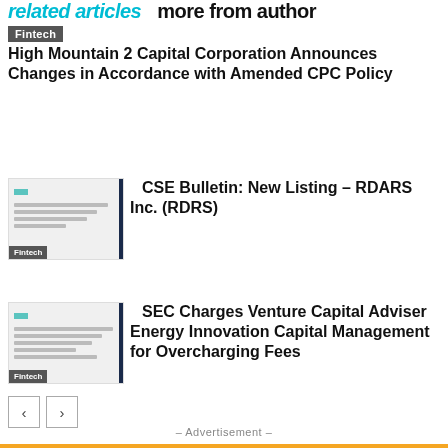related articles   more from author
Fintech
High Mountain 2 Capital Corporation Announces Changes in Accordance with Amended CPC Policy
[Figure (screenshot): Thumbnail of article about RDARS Inc. with Fintech badge]
Fintech
CSE Bulletin: New Listing – RDARS Inc. (RDRS)
[Figure (screenshot): Thumbnail of article about SEC Charges Venture Capital Adviser with Fintech badge]
Fintech
SEC Charges Venture Capital Adviser Energy Innovation Capital Management for Overcharging Fees
– Advertisement –